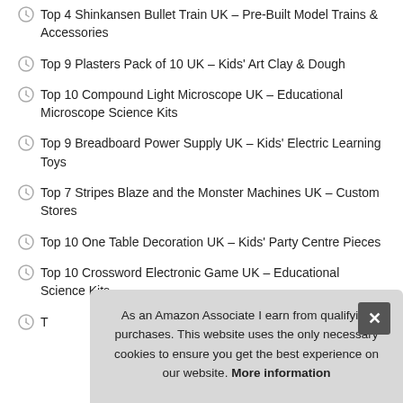Top 4 Shinkansen Bullet Train UK – Pre-Built Model Trains & Accessories
Top 9 Plasters Pack of 10 UK – Kids' Art Clay & Dough
Top 10 Compound Light Microscope UK – Educational Microscope Science Kits
Top 9 Breadboard Power Supply UK – Kids' Electric Learning Toys
Top 7 Stripes Blaze and the Monster Machines UK – Custom Stores
Top 10 One Table Decoration UK – Kids' Party Centre Pieces
Top 10 Crossword Electronic Game UK – Educational Science Kits
T… Hol…
As an Amazon Associate I earn from qualifying purchases. This website uses the only necessary cookies to ensure you get the best experience on our website. More information